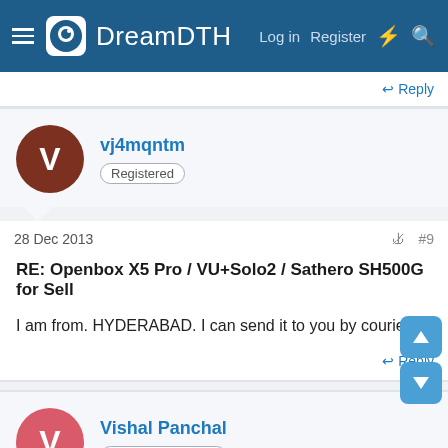DreamDTH — Log in  Register
Reply
vj4mqntm
Registered
28 Dec 2013  #9
RE: Openbox X5 Pro / VU+Solo2 / Sathero SH500G for Sell
I am from. HYDERABAD. I can send it to you by courier.
Reply
Vishal Panchal
Registered
29 Dec 2013